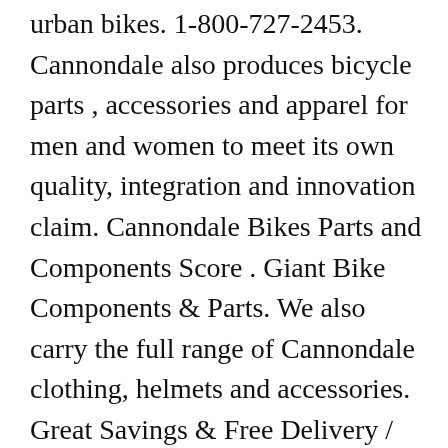urban bikes. 1-800-727-2453. Cannondale also produces bicycle parts , accessories and apparel for men and women to meet its own quality, integration and innovation claim. Cannondale Bikes Parts and Components Score . Giant Bike Components & Parts. We also carry the full range of Cannondale clothing, helmets and accessories. Great Savings & Free Delivery / Collection on many items Shop for Cannondale Bikes at REI - FREE SHIPPING With $50 minimum purchase. This stem works with larger 1.5-inch steerers, frequently found on Cannondale's front-suspension bikes. COVID-19: We ask for your understanding as you may experience delivery delays. Motorcycle, Bicycle Phone Mount. Share on: facebook.